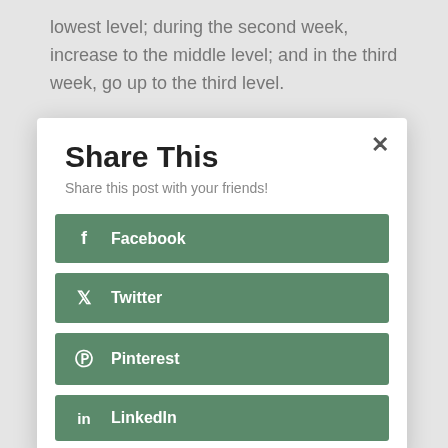lowest level; during the second week, increase to the middle level; and in the third week, go up to the third level.
After the first few days, the chicks will move
Share This
Share this post with your friends!
Facebook
Twitter
Pinterest
LinkedIn